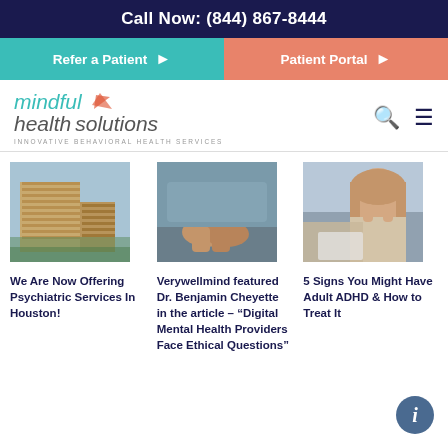Call Now: (844) 867-8444
Refer a Patient
Patient Portal
[Figure (logo): Mindful Health Solutions logo with leaf icon and tagline: INNOVATIVE BEHAVIORAL HEALTH SERVICES]
We Are Now Offering Psychiatric Services In Houston!
Verywellmind featured Dr. Benjamin Cheyette in the article – “Digital Mental Health Providers Face Ethical Questions”
5 Signs You Might Have Adult ADHD & How to Treat It